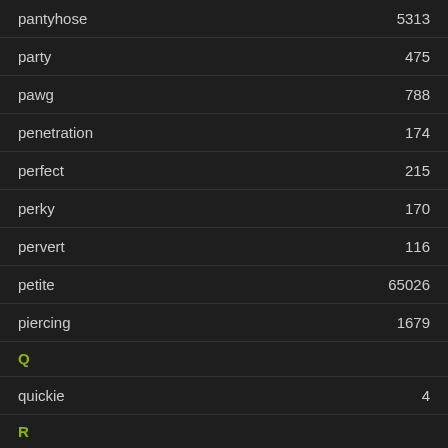pantyhose	5313
party	475
pawg	788
penetration	174
perfect	215
perky	170
pervert	116
petite	65026
piercing	1679
Q
quickie	4
R
real	421
redhead	9188
riding
rimming